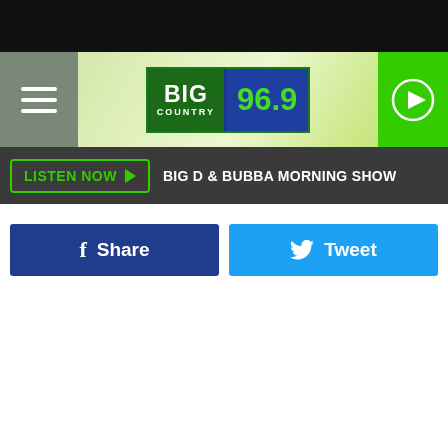[Figure (screenshot): Big Country 96.9 radio station website header with hamburger menu, logo, and play button]
LISTEN NOW  BIG D & BUBBA MORNING SHOW
Share
Tweet